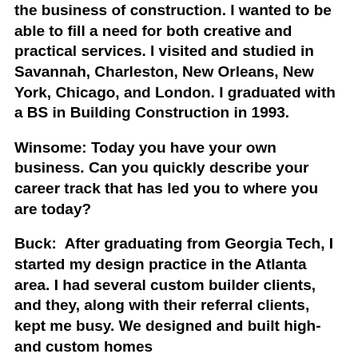the business of construction. I wanted to be able to fill a need for both creative and practical services. I visited and studied in Savannah, Charleston, New Orleans, New York, Chicago, and London. I graduated with a BS in Building Construction in 1993.
Winsome: Today you have your own business. Can you quickly describe your career track that has led you to where you are today?
Buck:  After graduating from Georgia Tech, I started my design practice in the Atlanta area. I had several custom builder clients, and they, along with their referral clients, kept me busy. We designed and built high-end custom homes...